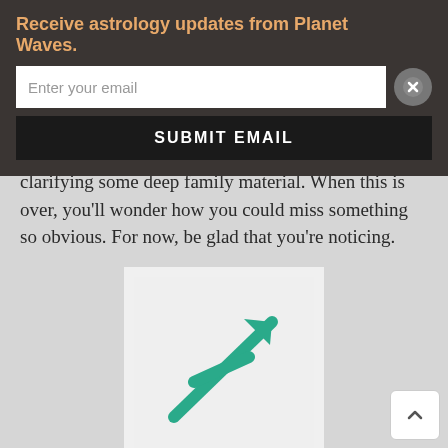Receive astrology updates from Planet Waves.
Enter your email
SUBMIT EMAIL
clarifying some deep family material. When this is over, you'll wonder how you could miss something so obvious. For now, be glad that you're noticing.
[Figure (illustration): Sagittarius zodiac symbol — an arrow pointing upper-right with a crossbar, in teal/green color, on a light gray background]
Sagittarius (Nov. 22 – Dec. 22)
Don't work too hard to convince anyone of anything — what is obvious should be obvious to everyone. Therefore if you cannot explain